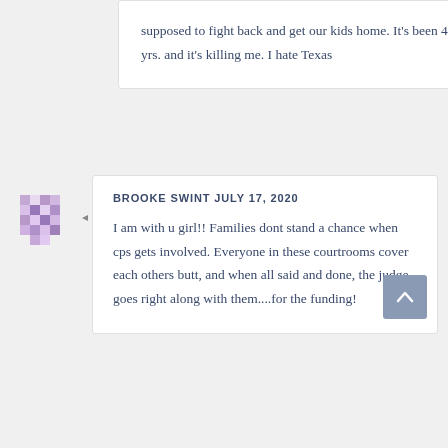supposed to fight back and get our kids home. It's been 4 yrs. and it's killing me. I hate Texas
BROOKE SWINT JULY 17, 2020
I am with u girl!! Families dont stand a chance when cps gets involved. Everyone in these courtrooms cover each others butt, and when all said and done, the judge goes right along with them....for the funding!